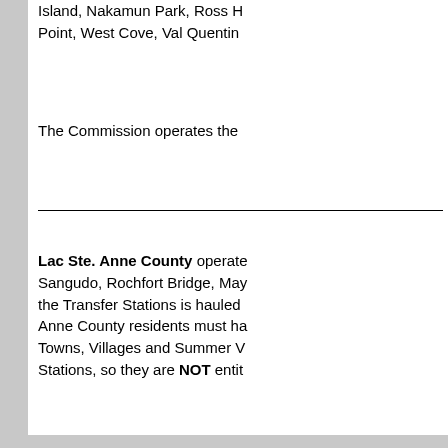Island, Nakamun Park, Ross H Point, West Cove, Val Quentin
The Commission operates the
Lac Ste. Anne County operates Sangudo, Rochfort Bridge, May the Transfer Stations is hauled Anne County residents must ha Towns, Villages and Summer V Stations, so they are NOT entit
Our mission is to operate our while providing the highest q